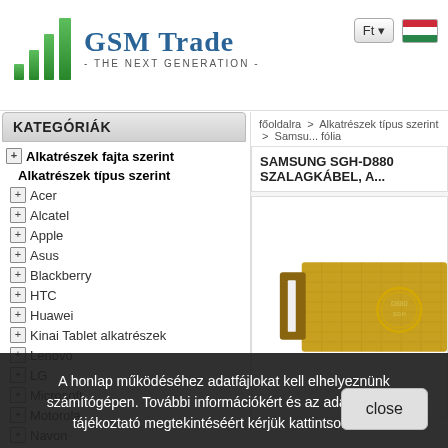[Figure (logo): GSM Trade - The Next Generation logo with green signal bars and blue serif text]
KATEGÓRIÁK
Alkatrészek fajta szerint
Alkatrészek típus szerint
Acer
Alcatel
Apple
Asus
Blackberry
HTC
Huawei
Kinai Tablet alkatrészek
Lenovo
LG
Microsoft
Motorola
Navon
főoldalra > Alkatrészek típus szerint > Samsung... fólia
SAMSUNG SGH-D880 SZALAGKÁBEL, A...
[Figure (photo): Samsung SGH-D880 flat ribbon cable / flex cable, golden color]
A honlap működéséhez adatfájlokat kell elhelyeznünk számítógépen. További információkért és az adatkezelési tájékoztató megtekintéséért kérjük kattintson ide.